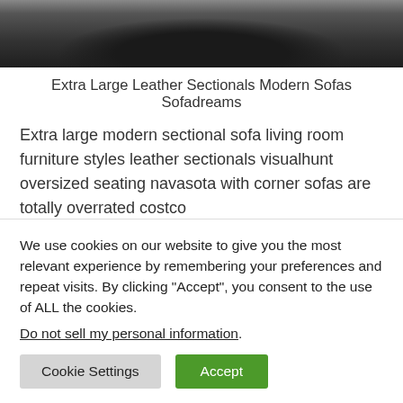[Figure (photo): Top portion of a dark gray textured sofa or sectional, viewed from above, showing fabric texture and curved shape against a light background.]
Extra Large Leather Sectionals Modern Sofas Sofadreams
Extra large modern sectional sofa living room furniture styles leather sectionals visualhunt oversized seating navasota with corner sofas are totally overrated costco
We use cookies on our website to give you the most relevant experience by remembering your preferences and repeat visits. By clicking “Accept”, you consent to the use of ALL the cookies.
Do not sell my personal information.